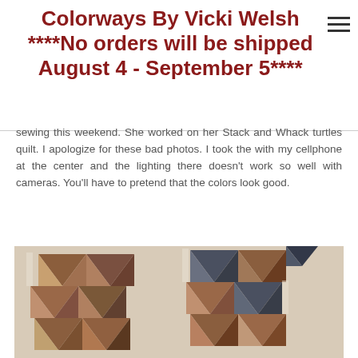Colorways By Vicki Welsh ****No orders will be shipped August 4 - September 5****
sewing this weekend. She worked on her Stack and Whack turtles quilt. I apologize for these bad photos. I took the with my cellphone at the center and the lighting there doesn't work so well with cameras. You'll have to pretend that the colors look good.
[Figure (photo): Photo of stack and whack turtle quilt blocks laid out on a surface, showing triangular fabric pieces in brown, tan, and dark blue/grey tones arranged in a pattern.]